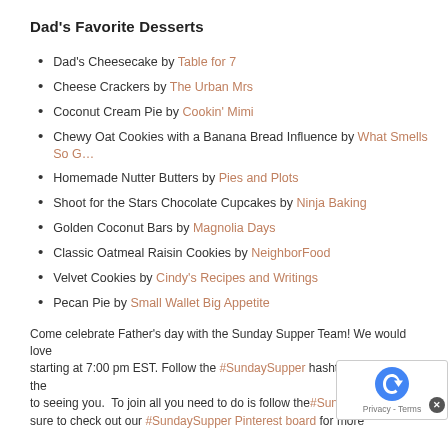Dad's Favorite Desserts
Dad's Cheesecake by Table for 7
Cheese Crackers by The Urban Mrs
Coconut Cream Pie by Cookin' Mimi
Chewy Oat Cookies with a Banana Bread Influence by What Smells So G…
Homemade Nutter Butters by Pies and Plots
Shoot for the Stars Chocolate Cupcakes by Ninja Baking
Golden Coconut Bars by Magnolia Days
Classic Oatmeal Raisin Cookies by NeighborFood
Velvet Cookies by Cindy's Recipes and Writings
Pecan Pie by Small Wallet Big Appetite
Come celebrate Father's day with the Sunday Supper Team! We would love starting at 7:00 pm EST. Follow the #SundaySupper hashtag throughout the to seeing you.  To join all you need to do is follow the #Sunday sure to check out our #SundaySupper Pinterest board for more